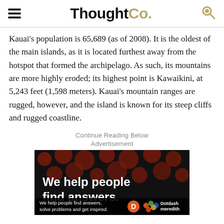ThoughtCo.
Kauai's population is 65,689 (as of 2008). It is the oldest of the main islands, as it is located furthest away from the hotspot that formed the archipelago. As such, its mountains are more highly eroded; its highest point is Kawaikini, at 5,243 feet (1,598 meters). Kauai's mountain ranges are rugged, however, and the island is known for its steep cliffs and rugged coastline.
Continue Reading Below
Advertisement
[Figure (other): Advertisement banner showing 'We help people find answers.' with Dotdash Meredith branding on dark background with red dot pattern]